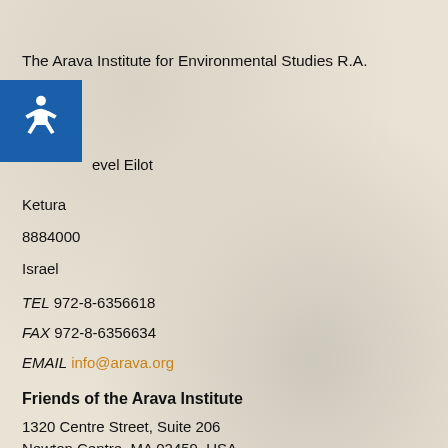The Arava Institute for Environmental Studies R.A.
evel Eilot
Ketura
8884000
Israel
TEL 972-8-6356618
FAX 972-8-6356634
EMAIL info@arava.org
Friends of the Arava Institute
1320 Centre Street, Suite 206
Newton Centre, MA 02459, USA